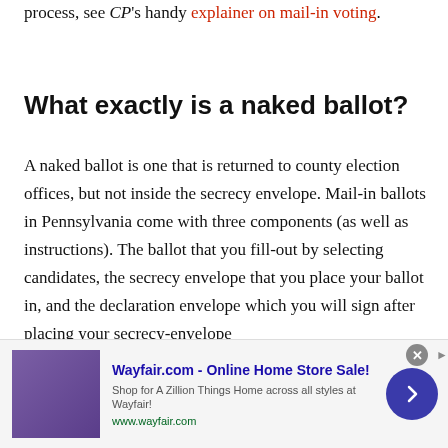want to learn more about the entire vote-by-mail process, see CP's handy explainer on mail-in voting.
What exactly is a naked ballot?
A naked ballot is one that is returned to county election offices, but not inside the secrecy envelope. Mail-in ballots in Pennsylvania come with three components (as well as instructions). The ballot that you fill-out by selecting candidates, the secrecy envelope that you place your ballot in, and the declaration envelope which you will sign after placing your secrecy-envelope
[Figure (other): Advertisement banner for Wayfair.com - Online Home Store Sale! with product image, text, and navigation arrow button]